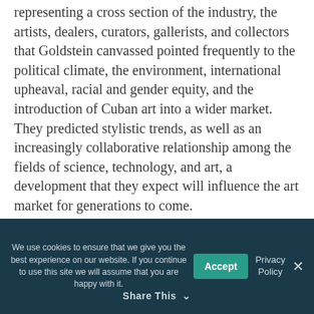representing a cross section of the industry, the artists, dealers, curators, gallerists, and collectors that Goldstein canvassed pointed frequently to the political climate, the environment, international upheaval, racial and gender equity, and the introduction of Cuban art into a wider market. They predicted stylistic trends, as well as an increasingly collaborative relationship among the fields of science, technology, and art, a development that they expect will influence the art market for generations to come.
While many folks noted these themes, very few
We use cookies to ensure that we give you the best experience on our website. If you continue to use this site we will assume that you are happy with it.